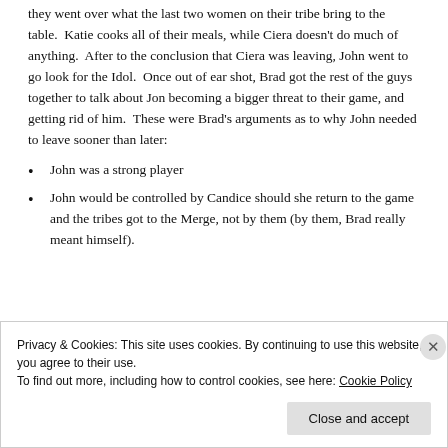they went over what the last two women on their tribe bring to the table.  Katie cooks all of their meals, while Ciera doesn't do much of anything.  After to the conclusion that Ciera was leaving, John went to go look for the Idol.  Once out of ear shot, Brad got the rest of the guys together to talk about Jon becoming a bigger threat to their game, and getting rid of him.  These were Brad's arguments as to why John needed to leave sooner than later:
John was a strong player
John would be controlled by Candice should she return to the game and the tribes got to the Merge, not by them (by them, Brad really meant himself).
Privacy & Cookies: This site uses cookies. By continuing to use this website, you agree to their use.
To find out more, including how to control cookies, see here: Cookie Policy